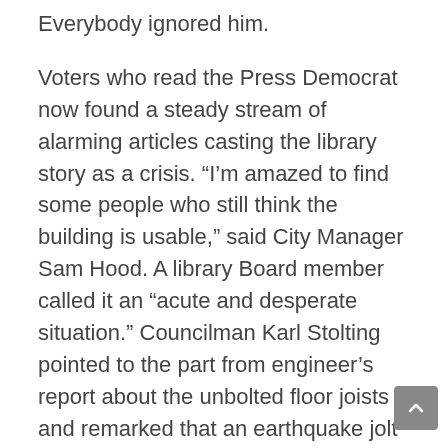Everybody ignored him.
Voters who read the Press Democrat now found a steady stream of alarming articles casting the library story as a crisis. “I’m amazed to find some people who still think the building is usable,” said City Manager Sam Hood. A library Board member called it an “acute and desperate situation.” Councilman Karl Stolting pointed to the part from engineer’s report about the unbolted floor joists and remarked that an earthquake jolt might knock them off the masonry, causing the floors to pancake. “At least